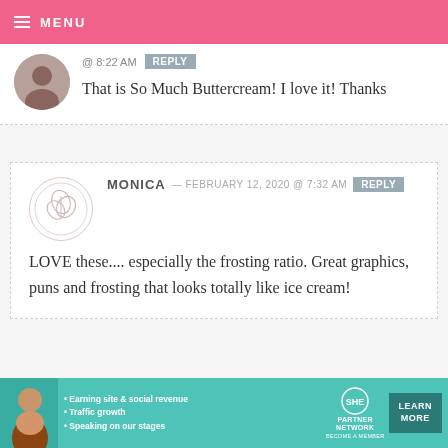MENU
@ 8:22 AM   REPLY
That is So Much Buttercream! I love it! Thanks
MONICA — FEBRUARY 12, 2020 @ 7:32 AM   REPLY
LOVE these.... especially the frosting ratio. Great graphics, puns and frosting that looks totally like ice cream!
[Figure (infographic): SHE Partner Network advertisement banner with text: Earning site & social revenue, Traffic growth, Speaking on our stages, BECOME A MEMBER, LEARN MORE]